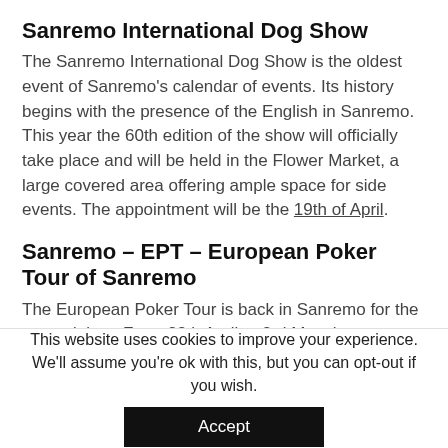Sanremo International Dog Show
The Sanremo International Dog Show is the oldest event of Sanremo’s calendar of events. Its history begins with the presence of the English in Sanremo. This year the 60th edition of the show will officially take place and will be held in the Flower Market, a large covered area offering ample space for side events. The appointment will be the 19th of April.
Sanremo – EPT – European Poker Tour of Sanremo
The European Poker Tour is back in Sanremo for the second time. From 28th April to 3rd May the most prestigious and “rich” competition of Europe will
This website uses cookies to improve your experience. We’ll assume you’re ok with this, but you can opt-out if you wish.